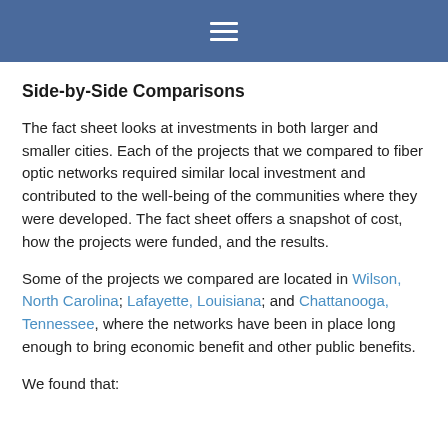≡
Side-by-Side Comparisons
The fact sheet looks at investments in both larger and smaller cities. Each of the projects that we compared to fiber optic networks required similar local investment and contributed to the well-being of the communities where they were developed. The fact sheet offers a snapshot of cost, how the projects were funded, and the results.
Some of the projects we compared are located in Wilson, North Carolina; Lafayette, Louisiana; and Chattanooga, Tennessee, where the networks have been in place long enough to bring economic benefit and other public benefits.
We found that: